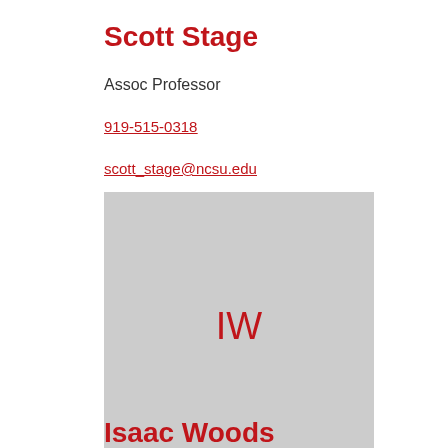Scott Stage
Assoc Professor
919-515-0318
scott_stage@ncsu.edu
[Figure (illustration): Gray placeholder image with red initials IW centered]
Isaac Woods